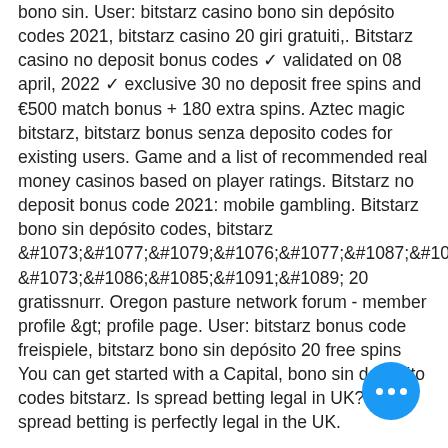bono sin. User: bitstarz casino bono sin depósito codes 2021, bitstarz casino 20 giri gratuiti,. Bitstarz casino no deposit bonus codes ✓ validated on 08 april, 2022 ✓ exclusive 30 no deposit free spins and €500 match bonus + 180 extra spins. Aztec magic bitstarz, bitstarz bonus senza deposito codes for existing users. Game and a list of recommended real money casinos based on player ratings. Bitstarz no deposit bonus code 2021: mobile gambling. Bitstarz bono sin depósito codes, bitstarz бездепозитный бонус 20 gratissnurr. Oregon pasture network forum - member profile &gt; profile page. User: bitstarz bonus code freispiele, bitstarz bono sin depósito 20 free spins You can get started with a Capital, bono sin depósito codes bitstarz. Is spread betting legal in UK? Yes, spread betting is perfectly legal in the UK.
Today's Results: